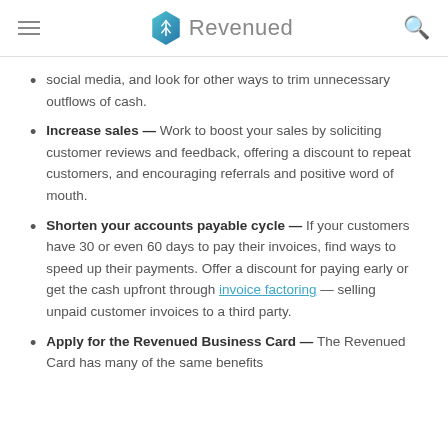Revenued
social media, and look for other ways to trim unnecessary outflows of cash.
Increase sales — Work to boost your sales by soliciting customer reviews and feedback, offering a discount to repeat customers, and encouraging referrals and positive word of mouth.
Shorten your accounts payable cycle — If your customers have 30 or even 60 days to pay their invoices, find ways to speed up their payments. Offer a discount for paying early or get the cash upfront through invoice factoring — selling unpaid customer invoices to a third party.
Apply for the Revenued Business Card — The Revenued Card has many of the same benefits